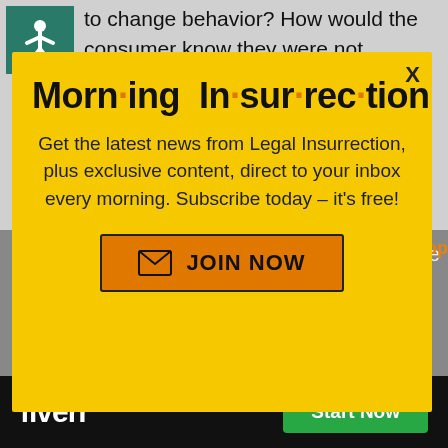to change behavior? How would the consumer know they were not supposed to drink that soda unless they were punished in some way.
[Figure (other): Yellow popup modal overlay for Morning Insurrection newsletter with orange JOIN NOW button]
Of course, wh politicians have
will result in a change of behavior
[Figure (other): Fiverr advertisement bar with logo and Start Now green button]